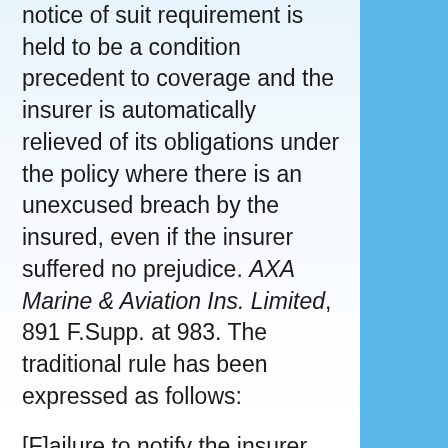notice of suit requirement is held to be a condition precedent to coverage and the insurer is automatically relieved of its obligations under the policy where there is an unexcused breach by the insured, even if the insurer suffered no prejudice. AXA Marine & Aviation Ins. Limited, 891 F.Supp. at 983. The traditional rule has been expressed as follows:
[F]ailure to notify the insurer within a reasonable time constitutes a breach of that contract requiring a justifiable excuse or extenuating circumstances explaining the